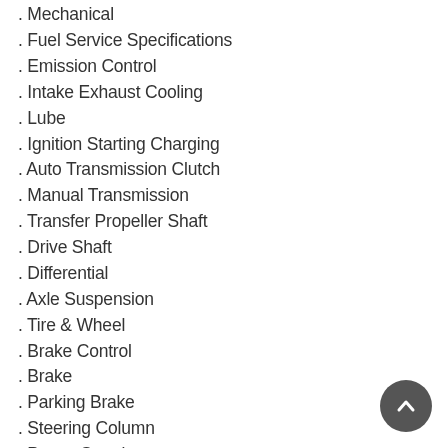. Mechanical
. Fuel Service Specifications
. Emission Control
. Intake Exhaust Cooling
. Lube
. Ignition Starting Charging
. Auto Transmission Clutch
. Manual Transmission
. Transfer Propeller Shaft
. Drive Shaft
. Differential
. Axle Suspension
. Tire & Wheel
. Brake Control
. Brake
. Parking Brake
. Steering Column
. Power Steering
. Air Condition